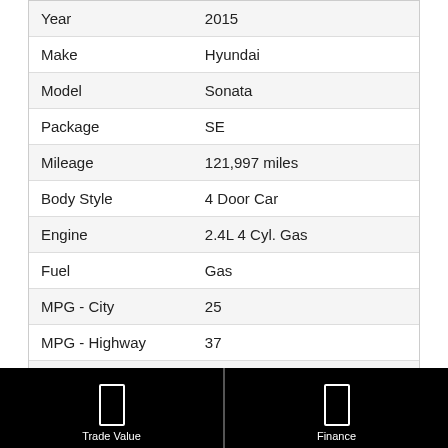|  |  |
| --- | --- |
| Year | 2015 |
| Make | Hyundai |
| Model | Sonata |
| Package | SE |
| Mileage | 121,997 miles |
| Body Style | 4 Door Car |
| Engine | 2.4L 4 Cyl. Gas |
| Fuel | Gas |
| MPG - City | 25 |
| MPG - Highway | 37 |
| Transmission | Automatic |
| Drive Type | Front Wheel |
| Color | RED |
[Figure (other): Two black buttons: 'Trade Value' on the left and 'Finance' on the right, each with a white rectangle icon above the label.]